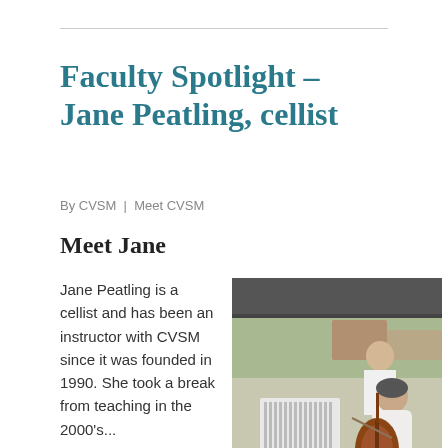Faculty Spotlight – Jane Peatling, cellist
By CVSM  |  Meet CVSM
Meet Jane
Jane Peatling is a cellist and has been an instructor with CVSM since it was founded in 1990. She took a break from teaching in the 2000's...
[Figure (photo): A woman playing cello outdoors under a tent canopy at what appears to be an outdoor event, with a man standing behind a keyboard/marimba instrument in the background.]